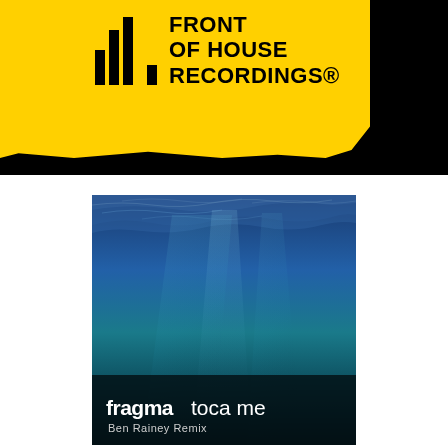[Figure (logo): Front of House Recordings logo on black and yellow header banner with hamburger menu icon]
[Figure (illustration): Album cover art for Fragma - Toca Me (Ben Rainey Remix). Underwater ocean scene with deep blue water, light refracting from surface above, gradient from dark teal at bottom to blue at top. Text overlay: 'fragma toca me / Ben Rainey Remix' in white.]